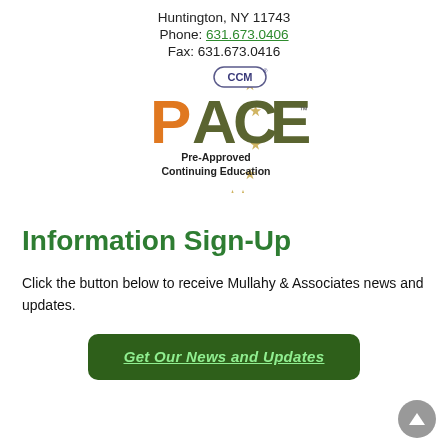Huntington, NY 11743
Phone: 631.673.0406
Fax: 631.673.0416
[Figure (logo): PACE CCM Pre-Approved Continuing Education logo with orange and dark olive green letters and gold stars in a circular arrangement]
Information Sign-Up
Click the button below to receive Mullahy & Associates news and updates.
Get Our News and Updates